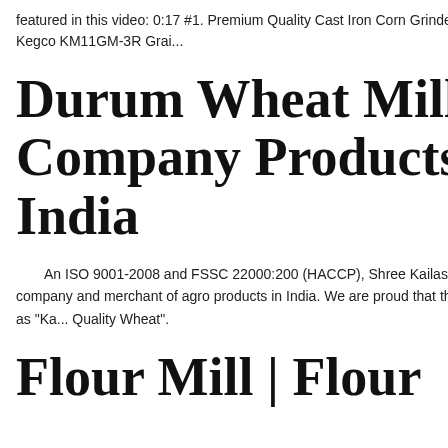featured in this video: 0:17 #1. Premium Quality Cast Iron Corn Grinder - https://amzn.to/2QnEbfa4:14 #2. Kegco KM11GM-3R Grai...
Durum Wheat Milling Company Products Supplier India
An ISO 9001-2008 and FSSC 22000:2005 (HACCP), Shree Kailash Grain Mills is one of Durum Wheat Milling company and merchant of agro products in India. We are proud that the best quality Durum Wheat is acknowledged as "Ka... Quality Wheat".
[Figure (photo): Advertisement panel with orange background showing industrial milling/crushing machines, 'Enjoy 3% discount' banner in yellow/red, 'Click to Chat' button, Enquiry link, and email limingjlmofen@sina.com]
Flour Mill | Flour